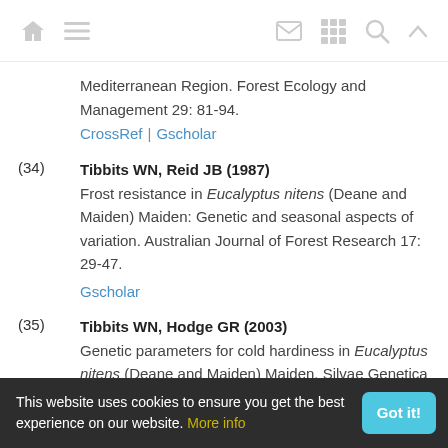navigation icons: home, menu, mail, grid, search, up
Mediterranean Region. Forest Ecology and Management 29: 81-94.
CrossRef | Gscholar
(34) Tibbits WN, Reid JB (1987) Frost resistance in Eucalyptus nitens (Deane and Maiden) Maiden: Genetic and seasonal aspects of variation. Australian Journal of Forest Research 17: 29-47. Gscholar
(35) Tibbits WN, Hodge GR (2003) Genetic parameters for cold hardiness in Eucalyptus nitens (Deane and Maiden) Maiden. Silvae Genetica 52 (3-4): 89-97.
This website uses cookies to ensure you get the best experience on our website. More info